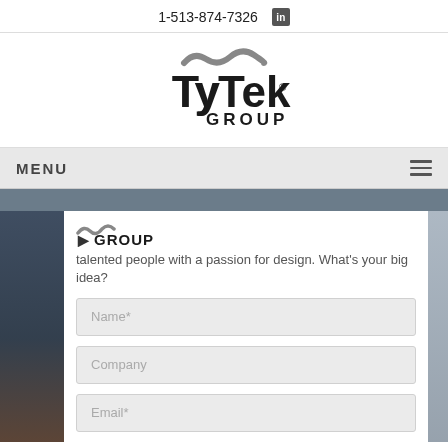1-513-874-7326  in
[Figure (logo): TyTek GROUP logo with wave/tilde graphic above stylized text]
MENU
[Figure (logo): Partial TyTek GROUP logo mini]
talented people with a passion for design. What's your big idea?
Name*
Company
Email*